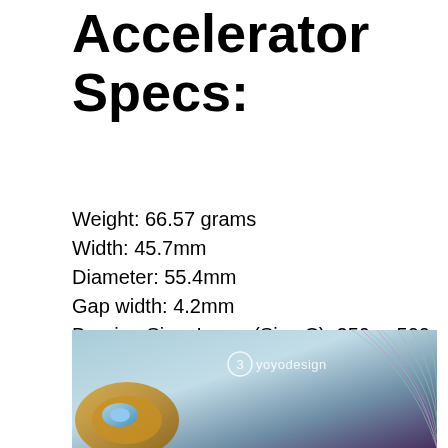Accelerator Specs:
Weight: 66.57 grams
Width: 45.7mm
Diameter: 55.4mm
Gap width: 4.2mm
Bearing Size: Large (Size C) .250 x .500 x .187 in
Gap Type: Fixed
Response: Silicon Sticker
[Figure (photo): 3yoyodesign branded product image showing a gold and blue yoyo against a teal/purple gradient background with arc lines]